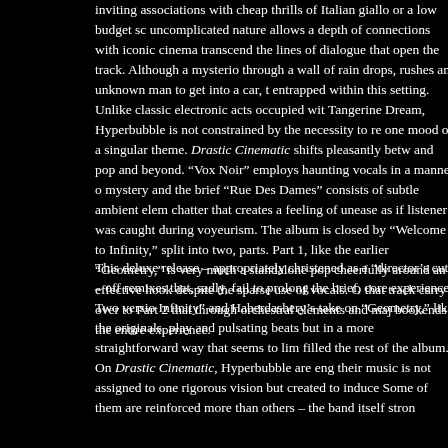inviting associations with cheap thrills of Italian giallo or a low budget sc uncomplicated nature allows a depth of connections with iconic cinema transcend the lines of dialogue that open the track. Although a mysterio through a wall of rain drops, rushes an unknown man to get into a car, t entrapped within this setting. Unlike classic electronic acts occupied wit Tangerine Dream, Hyperbubble is not constrained by the necessity to re one mood or a singular theme. Drastic Cinematic shifts pleasantly betw and pop and beyond. "Vox Noir" employs haunting vocals in a manner o mystery and the brief "Rue Des Dames" consists of subtle ambient elem chatter that creates a feeling of unease as if listener was caught during voyeurism. The album is closed by "Welcome to Infinity," split into two, parts. Part 1, like the earlier "Geometry," is very much a standalone pop cheerfully around an effective hook despite the sparse use of vocals. O that track carry over to Part 2 that through orchestral elements and maj bookends the entire experience.

This deluxe release – appropriately christened as a "director's cut" – off remixes that, sadly, fail to prolong the brief, core experience. Two versio Infinity" and Haberdashery's take on "Geometry," like the originals, play and pulsating beats but in a more straightforward way that seems to lim filled the rest of the album. On Drastic Cinematic, Hyperbubble are eng their music is not assigned to one rigorous vision but created to induce Some of them are reinforced more than others – the band itself stron